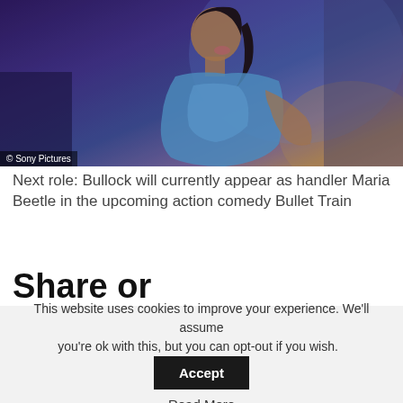[Figure (photo): Photo of a woman shown in profile against a purple/blue lit background, with a Sony Pictures watermark in the lower left corner.]
Next role: Bullock will currently appear as handler Maria Beetle in the upcoming action comedy Bullet Train
Share or comment on this article:
Taboola Feed
This website uses cookies to improve your experience. We'll assume you're ok with this, but you can opt-out if you wish. Accept Read More